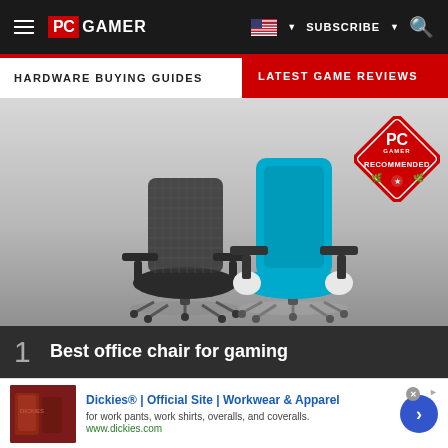PC GAMER | SUBSCRIBE | Search
HARDWARE BUYING GUIDES
LATEST GAME REVIEWS
[Figure (photo): Two ergonomic office chairs side by side: a black mesh back chair on the left and a bright blue upholstered chair on the right, with a PC Gamer Recommended diamond badge in the top right.]
1 Best office chair for gaming
Dickies® | Official Site | Workwear & Apparel
for work pants, work shirts, overalls, and coveralls.
www.dickies.com